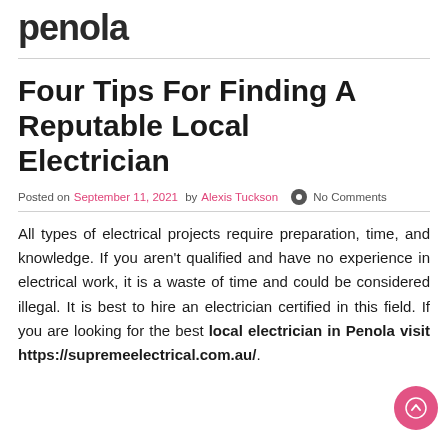penola
Four Tips For Finding A Reputable Local Electrician
Posted on September 11, 2021 by Alexis Tuckson  No Comments
All types of electrical projects require preparation, time, and knowledge. If you aren't qualified and have no experience in electrical work, it is a waste of time and could be considered illegal. It is best to hire an electrician certified in this field. If you are looking for the best local electrician in Penola visit https://supremeelectrical.com.au/.